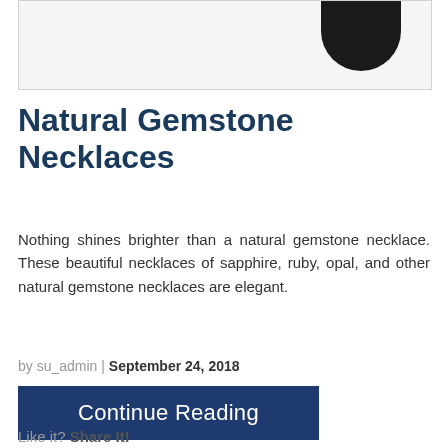[Figure (photo): Product image of a gemstone necklace, partially visible at top of page, dark object on light background]
Natural Gemstone Necklaces
Nothing shines brighter than a natural gemstone necklace. These beautiful necklaces of sapphire, ruby, opal, and other natural gemstone necklaces are elegant.
by su_admin | September 24, 2018
Continue Reading
Like it? Share It!